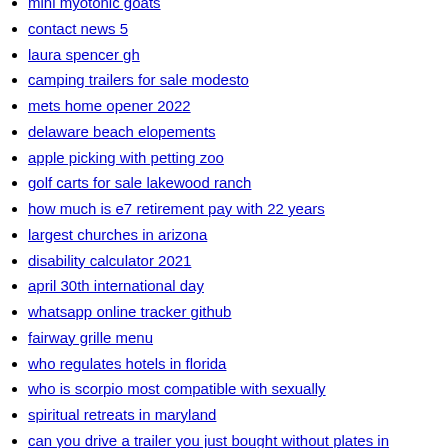mini myotonic goats
contact news 5
laura spencer gh
camping trailers for sale modesto
mets home opener 2022
delaware beach elopements
apple picking with petting zoo
golf carts for sale lakewood ranch
how much is e7 retirement pay with 22 years
largest churches in arizona
disability calculator 2021
april 30th international day
whatsapp online tracker github
fairway grille menu
who regulates hotels in florida
who is scorpio most compatible with sexually
spiritual retreats in maryland
can you drive a trailer you just bought without plates in massachusetts
words from venison
signs of beauty in a man
savage comments for friends in english
corris caravan park caravans for sale
worst vtubers reddit
me and my friend aren t talking